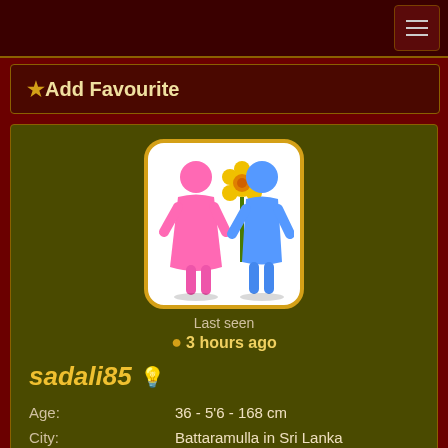★Add Favourite
[Figure (illustration): A matrimony/dating app profile image showing a pink female figure and a blue male figure with a yellow flower between them, on a white rounded-rectangle background with gold border.]
Last seen
🟡 3 hours ago
sadali85 💡
| Age: | 36 - 5'6 - 168 cm |
| City: | Battaramulla in Sri Lanka |
| Education: | High school |
| Community: | Buddhist/Sinhalese |